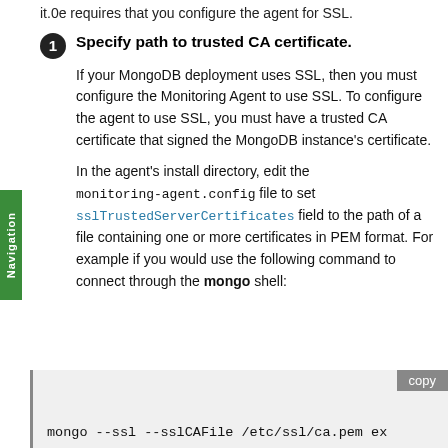it.0e requires that you configure the agent for SSL.
Specify path to trusted CA certificate. If your MongoDB deployment uses SSL, then you must configure the Monitoring Agent to use SSL. To configure the agent to use SSL, you must have a trusted CA certificate that signed the MongoDB instance’s certificate.

In the agent’s install directory, edit the monitoring-agent.config file to set sslTrustedServerCertificates field to the path of a file containing one or more certificates in PEM format. For example if you would use the following command to connect through the mongo shell:
[Figure (screenshot): Code block showing: mongo --ssl --sslCAFile /etc/ssl/ca.pem ex, with a copy button]